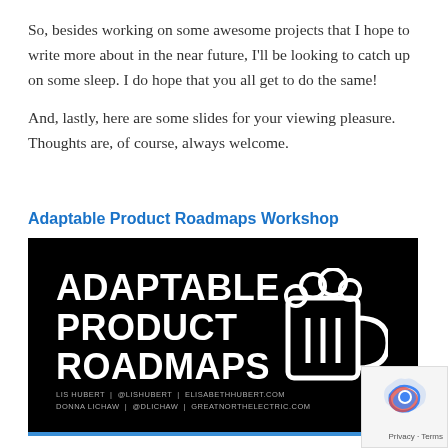So, besides working on some awesome projects that I hope to write more about in the near future, I'll be looking to catch up on some sleep. I do hope that you all get to do the same!

And, lastly, here are some slides for your viewing pleasure. Thoughts are, of course, always welcome.
Adaptable Product Roadmaps Workshop
[Figure (illustration): Slide image with black background showing bold white text 'ADAPTABLE PRODUCT ROADMAPS', a beer mug icon on the right, and footer credits: LIS HUBERT | @LISHUBERT | ELISABETHHUBERT.COM and DONNA LICHAW | @DLICHAW | GREATNORTHELECTRIC.COM]